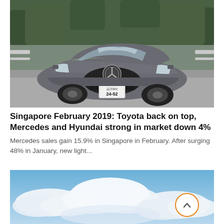[Figure (photo): Gray Mercedes-Benz CLS sedan with Japanese license plate 24-52, driving on a road with trees in the background]
Singapore February 2019: Toyota back on top, Mercedes and Hyundai strong in market down 4%
Mercedes sales gain 15.9% in Singapore in February. After surging 48% in January, new light...
[Figure (photo): Blue sky with white clouds]